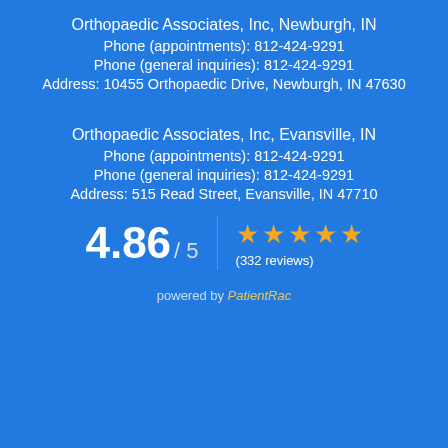Orthopaedic Associates, Inc, Newburgh, IN
Phone (appointments): 812-424-9291
Phone (general inquiries): 812-424-9291
Address: 10455 Orthopaedic Drive, Newburgh, IN 47630
Orthopaedic Associates, Inc, Evansville, IN
Phone (appointments): 812-424-9291
Phone (general inquiries): 812-424-9291
Address: 515 Read Street, Evansville, IN 47710
4.86 / 5  ★★★★★  (332 reviews)
powered by PatientRac